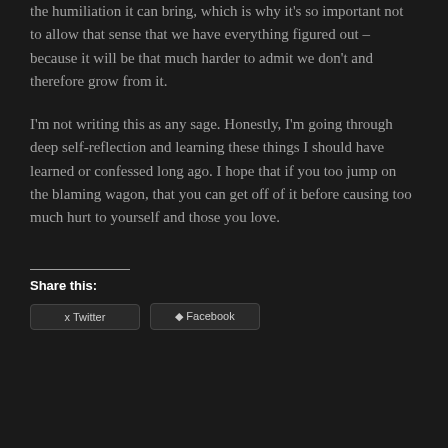the humiliation it can bring, which is why it's so important not to allow that sense that we have everything figured out – because it will be that much harder to admit we don't and therefore grow from it.
I'm not writing this as any sage. Honestly, I'm going through deep self-reflection and learning these things I should have learned or confessed long ago. I hope that if you too jump on the blaming wagon, that you can get off of it before causing too much hurt to yourself and those you love.
Share this: